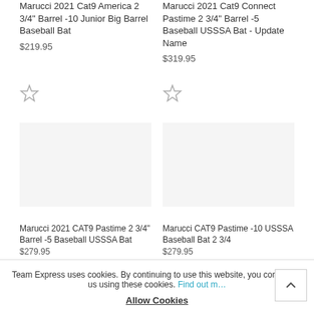Marucci 2021 Cat9 America 2 3/4" Barrel -10 Junior Big Barrel Baseball Bat
$219.95
Marucci 2021 Cat9 Connect Pastime 2 3/4" Barrel -5 Baseball USSSA Bat - Update Name
$319.95
[Figure (other): Star/favorite icon (unfilled) for first product]
[Figure (other): Star/favorite icon (unfilled) for second product]
[Figure (other): Product image area for Marucci 2021 CAT9 Pastime (empty/loading)]
[Figure (other): Product image area for Marucci CAT9 Pastime -10 USSSA (empty/loading)]
Marucci 2021 CAT9 Pastime 2 3/4" Barrel -5 Baseball USSSA Bat
$279.95
Marucci CAT9 Pastime -10 USSSA Baseball Bat 2 3/4
$279.95
Team Express uses cookies. By continuing to use this website, you consent to us using these cookies. Find out more Allow Cookies